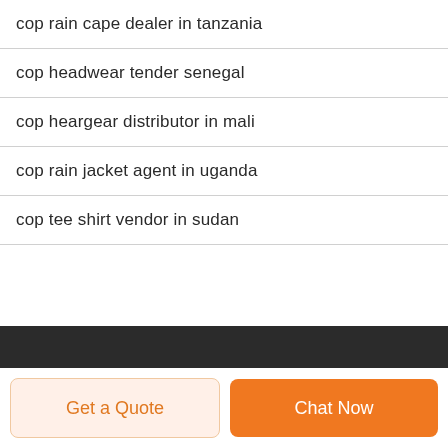cop rain cape dealer in tanzania
cop headwear tender senegal
cop heargear distributor in mali
cop rain jacket agent in uganda
cop tee shirt vendor in sudan
Get a Quote | Chat Now